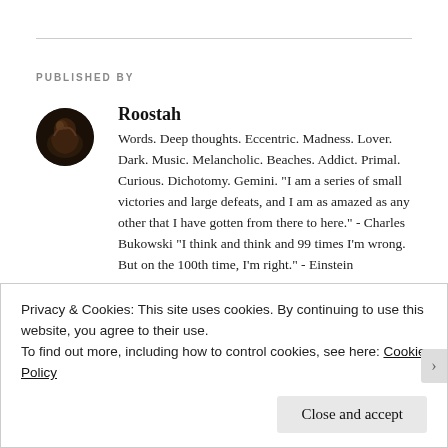PUBLISHED BY
[Figure (photo): Circular avatar photo of Roostah, dark toned image]
Roostah
Words. Deep thoughts. Eccentric. Madness. Lover. Dark. Music. Melancholic. Beaches. Addict. Primal. Curious. Dichotomy. Gemini. "I am a series of small victories and large defeats, and I am as amazed as any other that I have gotten from there to here." - Charles Bukowski "I think and think and 99 times I'm wrong. But on the 100th time, I'm right." - Einstein
View all posts by Roostah →
Privacy & Cookies: This site uses cookies. By continuing to use this website, you agree to their use.
To find out more, including how to control cookies, see here: Cookie Policy
Close and accept